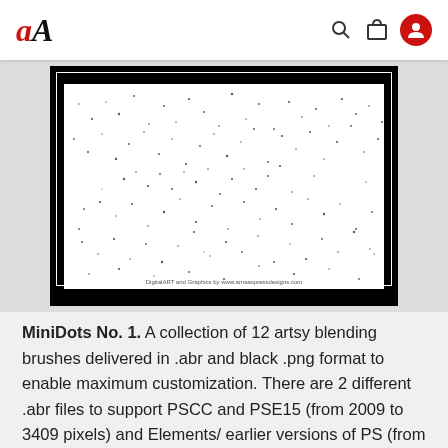aA [logo] with search, bag, and user icons
[Figure (illustration): A product preview image showing MiniDots No. 1 brush sample — a white canvas with scattered tiny black dots/particles creating a subtle grunge texture effect, framed with a black border and a white inner border line. A watermark reads: DigitalART and Graphics by www.arnaaspressdesigns.com]
MiniDots No. 1. A collection of 12 artsy blending brushes delivered in .abr and black .png format to enable maximum customization. There are 2 different .abr files to support PSCC and PSE15 (from 2009 to 3409 pixels) and Elements/ earlier versions of PS (from 2009 to 2500 pixels)